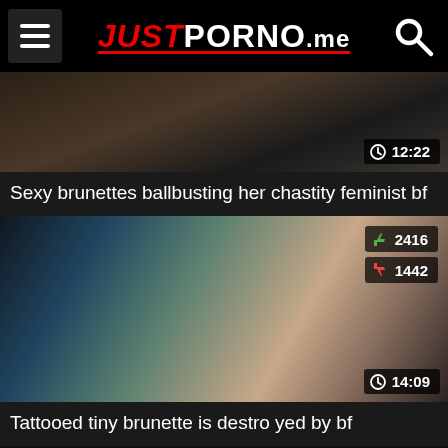JUST PORNO .me
[Figure (screenshot): Video thumbnail for 'Sexy brunettes ballbusting her chastity feminist bf', duration 12:22]
Sexy brunettes ballbusting her chastity feminist bf
[Figure (screenshot): Video thumbnail for 'Tattooed tiny brunette is destroyed by bf', likes 2416, dislikes 1442, duration 14:09]
Tattooed tiny brunette is destro yed by bf